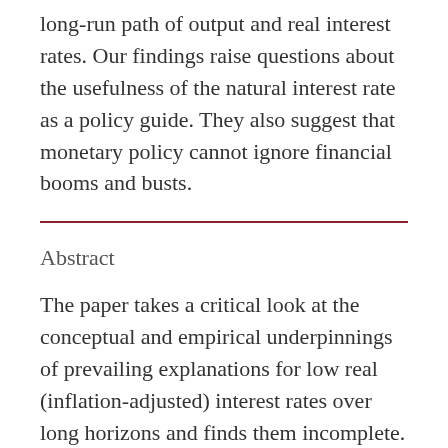long-run path of output and real interest rates. Our findings raise questions about the usefulness of the natural interest rate as a policy guide. They also suggest that monetary policy cannot ignore financial booms and busts.
Abstract
The paper takes a critical look at the conceptual and empirical underpinnings of prevailing explanations for low real (inflation-adjusted) interest rates over long horizons and finds them incomplete. The role of monetary policy, and its interaction with the financial cycle in particular, deserve greater attention. By linking booms and busts, the financial cycle generates important path dependencies that give rise to